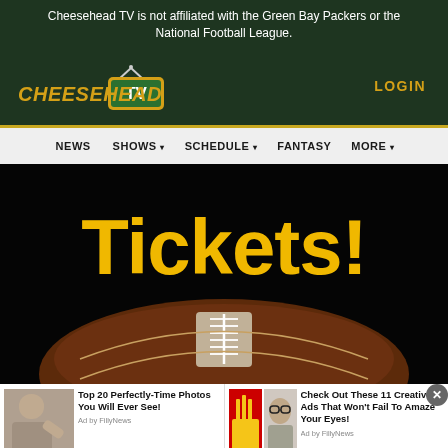Cheesehead TV is not affiliated with the Green Bay Packers or the National Football League.
[Figure (logo): Cheesehead TV logo with golden italic text and green TV box icon]
LOGIN
[Figure (screenshot): Navigation bar with NEWS, SHOWS, SCHEDULE, FANTASY, MORE menu items]
[Figure (photo): Hero banner image showing 'Tickets!' text in large yellow font over a dark background with a football in the foreground]
[Figure (photo): Advertisement: Top 20 Perfectly-Time Photos You Will Ever See! Ad by FillyNews]
[Figure (photo): Advertisement: Check Out These 11 Creative Ads That Won't Fail To Amaze Your Eyes! Ad by FillyNews]